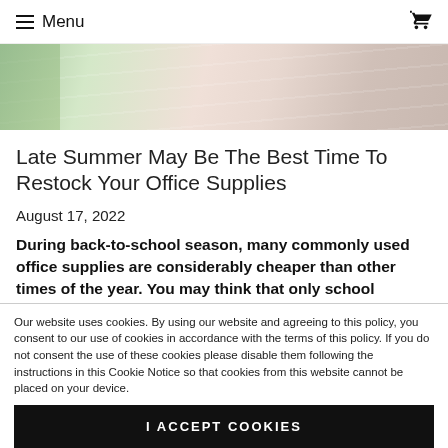≡ Menu
[Figure (photo): Close-up of colorful notebooks or office supplies, showing pastel-colored pages fanned out]
Late Summer May Be The Best Time To Restock Your Office Supplies
August 17, 2022
During back-to-school season, many commonly used office supplies are considerably cheaper than other times of the year. You may think that only school supplies like… Continue Reading Late
Our website uses cookies. By using our website and agreeing to this policy, you consent to our use of cookies in accordance with the terms of this policy. If you do not consent the use of these cookies please disable them following the instructions in this Cookie Notice so that cookies from this website cannot be placed on your device.
I ACCEPT COOKIES